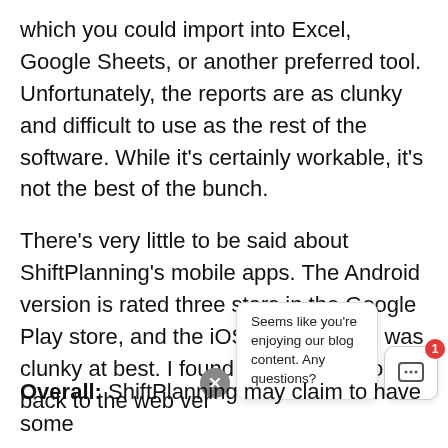which you could import into Excel, Google Sheets, or another preferred tool. Unfortunately, the reports are as clunky and difficult to use as the rest of the software. While it's certainly workable, it's not the best of the bunch.
There's very little to be said about ShiftPlanning's mobile apps. The Android version is rated three stars in the Google Play store, and the iOS edition I tried was clunky at best. I found I was forced to go back to the web version for some of the
[Figure (screenshot): Chat widget overlay showing a close button (X), a speech bubble saying 'Seems like you're enjoying our blog content. Any questions?', and a chat icon button with a red badge showing '1'.]
Overall: ShiftPlanning may claim to have some